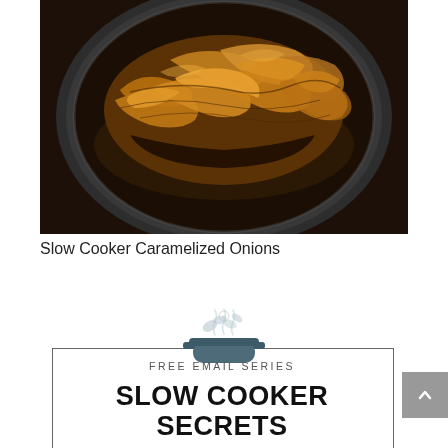[Figure (photo): Overhead close-up photo of caramelized onions in a slow cooker, showing golden-brown caramelized onions with dark rich juices in a round black slow cooker insert.]
Slow Cooker Caramelized Onions
[Figure (illustration): Slow cooker icon with steam/herbs graphic above it, centered above promotional box border.]
FREE EMAIL SERIES
SLOW COOKER SECRETS